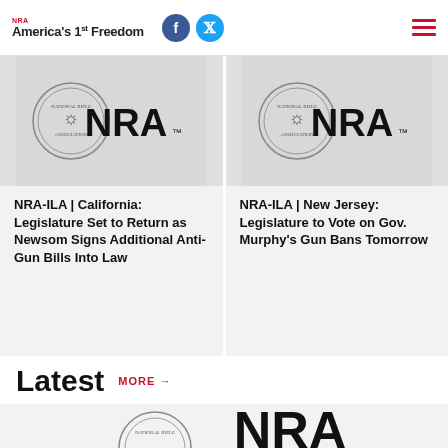NRA America's 1st Freedom
[Figure (screenshot): NRA logo with seal on light gray background — article card image for California story]
NRA-ILA | California: Legislature Set to Return as Newsom Signs Additional Anti-Gun Bills Into Law
[Figure (screenshot): NRA logo with seal on light gray background — article card image for New Jersey story]
NRA-ILA | New Jersey: Legislature to Vote on Gov. Murphy's Gun Bans Tomorrow
Latest
MORE →
[Figure (logo): NRA logo partially visible at bottom of page — beginning of Latest section article card]